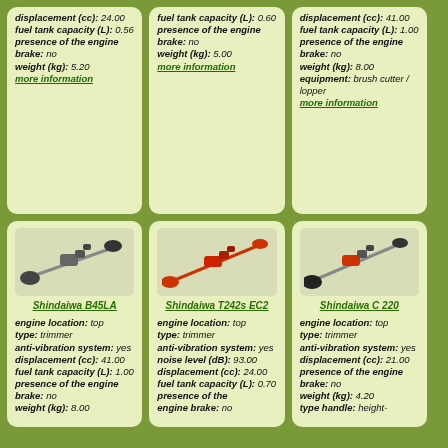displacement (cc): 24.00 fuel tank capacity (L): 0.56 presence of the engine brake: no weight (kg): 5.20 more information
fuel tank capacity (L): 0.60 presence of the engine brake: no weight (kg): 5.00 more information
displacement (cc): 41.00 fuel tank capacity (L): 1.00 presence of the engine brake: no weight (kg): 8.00 equipment: brush cutter / lopper more information
[Figure (photo): Shindaiwa B45LA brushcutter trimmer]
Shindaiwa B45LA
engine location: top type: trimmer anti-vibration system: yes displacement (cc): 41.00 fuel tank capacity (L): 1.00 presence of the engine brake: no weight (kg): 8.00
[Figure (photo): Shindaiwa T242s EC2 trimmer]
Shindaiwa T242s EC2
engine location: top type: trimmer anti-vibration system: yes noise level (dB): 93.00 displacement (cc): 24.00 fuel tank capacity (L): 0.70 presence of the engine brake: no
[Figure (photo): Shindaiwa C 220 trimmer]
Shindaiwa C 220
engine location: top type: trimmer anti-vibration system: yes displacement (cc): 21.00 presence of the engine brake: no weight (kg): 4.20 type handle: height-